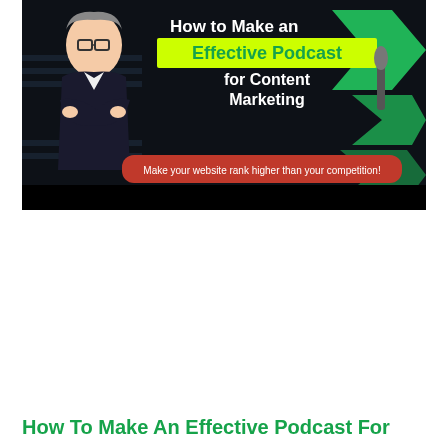[Figure (illustration): Thumbnail image for a podcast/content marketing video. Dark background with green geometric chevron shapes on the right side. A cartoon/illustrated man in a black suit with arms crossed on the left. Bold white text reads 'How to Make an Effective Podcast for Content Marketing'. 'Effective Podcast' is highlighted in green/yellow. A red banner at the bottom reads 'Make your website rank higher than your competition!']
How To Make An Effective Podcast For